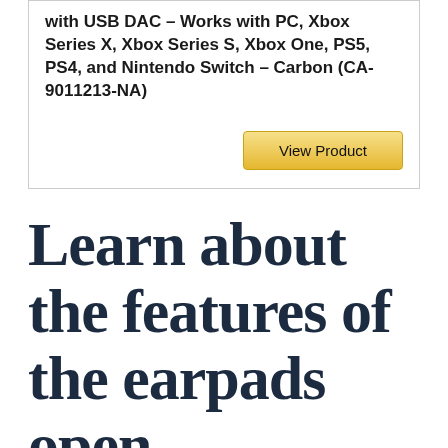with USB DAC – Works with PC, Xbox Series X, Xbox Series S, Xbox One, PS5, PS4, and Nintendo Switch – Carbon (CA-9011213-NA)
View Product
Learn about the features of the earpads open-back detachable